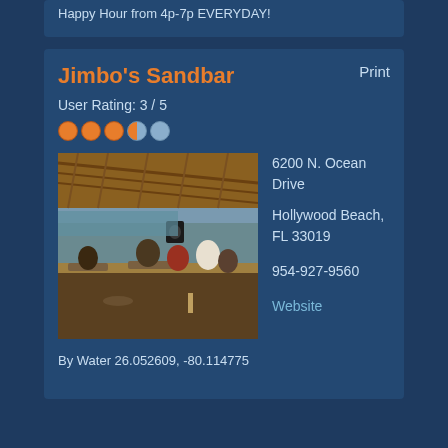Happy Hour from 4p-7p EVERYDAY!
Jimbo's Sandbar
Print
User Rating: 3 / 5
[Figure (photo): Interior photo of Jimbo's Sandbar showing an open-air tiki bar setting with patrons seated at tables under a thatched palm roof, with water visible in the background]
6200 N. Ocean Drive
Hollywood Beach, FL 33019
954-927-9560
Website
By Water 26.052609, -80.114775